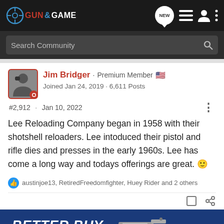GUN & GAME — Navigation bar with logo, NEW button, list icon, user icon, menu icon
Search Community
Jim Bridger · Premium Member 🇺🇸
Joined Jan 24, 2019 · 6,611 Posts
#2,912 · Jan 10, 2022
Lee Reloading Company began in 1958 with their shotshell reloaders. Lee intoduced their pistol and rifle dies and presses in the early 1960s. Lee has come a long way and todays offerings are great. 🙂
austinjoe13, RetiredFreedomfighter, Huey Rider and 2 others
[Figure (screenshot): BETTER BUY advertisement banner with a gun image on blue background]